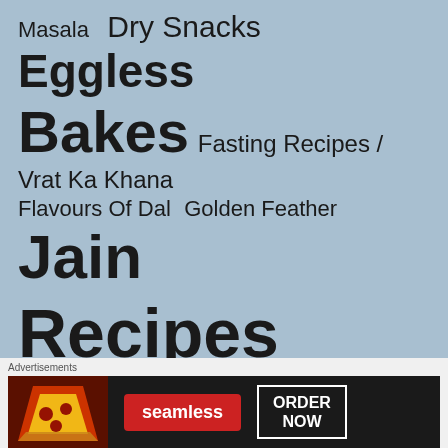Masala  Dry Snacks  Eggless  Bakes  Fasting Recipes / Vrat Ka Khana  Flavours Of Dal  Golden Feather  Jain  Recipes Kids  Special  Mouth Fresheners  No  Onion No Garlic  Paryushan / Tithi
[Figure (screenshot): Seamless food delivery advertisement banner with pizza image, Seamless logo in red, and ORDER NOW button in white border]
Advertisements